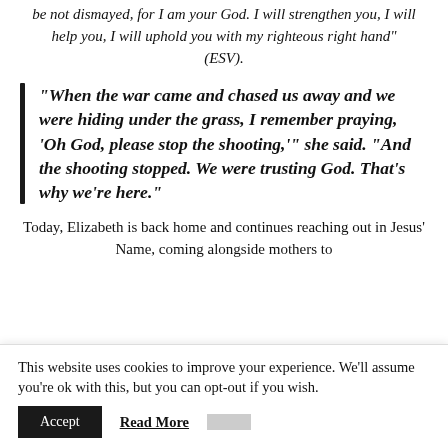be not dismayed, for I am your God. I will strengthen you, I will help you, I will uphold you with my righteous right hand” (ESV).
“When the war came and chased us away and we were hiding under the grass, I remember praying, ‘Oh God, please stop the shooting,’” she said. “And the shooting stopped. We were trusting God. That’s why we’re here.”
Today, Elizabeth is back home and continues reaching out in Jesus’ Name, coming alongside mothers to
This website uses cookies to improve your experience. We'll assume you're ok with this, but you can opt-out if you wish.